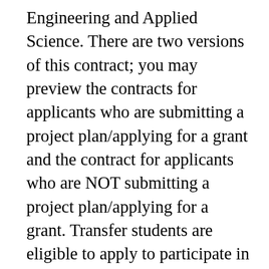Engineering and Applied Science. There are two versions of this contract; you may preview the contracts for applicants who are submitting a project plan/applying for a grant and the contract for applicants who are NOT submitting a project plan/applying for a grant. Transfer students are eligible to apply to participate in all student law journals at Columbia Law School. Candidates applying on an Early Decision basis commit themselves to matriculate at Columbia if admitted. May I request an interview? program, and for additional answers, visit our Frequently Asked Questions page. If you have fewer than 28 or more than 32 credits, please include a written explanation or additional documents.